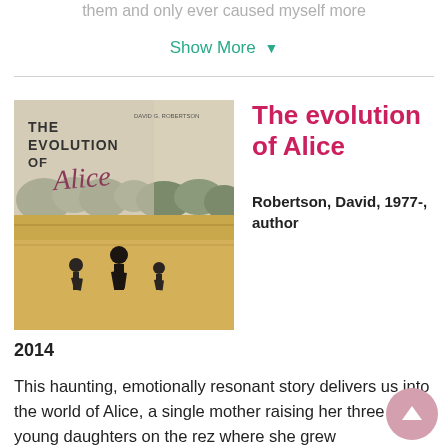them and only ever caused myself more
Show More ▾
[Figure (illustration): Book cover for 'The Evolution of Alice' showing children running through a field of tall grass with trees in the background. Title text overlaid on image.]
The evolution of Alice
Robertson, David, 1977-, author
2014
This haunting, emotionally resonant story delivers us into the world of Alice, a single mother raising her three young daughters on the rez where she grew